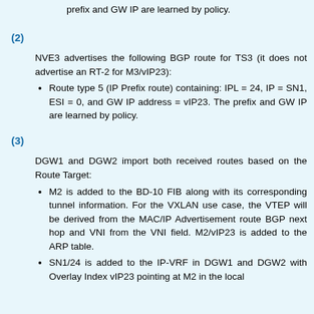prefix and GW IP are learned by policy.
(2)
NVE3 advertises the following BGP route for TS3 (it does not advertise an RT-2 for M3/vIP23):
Route type 5 (IP Prefix route) containing: IPL = 24, IP = SN1, ESI = 0, and GW IP address = vIP23. The prefix and GW IP are learned by policy.
(3)
DGW1 and DGW2 import both received routes based on the Route Target:
M2 is added to the BD-10 FIB along with its corresponding tunnel information. For the VXLAN use case, the VTEP will be derived from the MAC/IP Advertisement route BGP next hop and VNI from the VNI field. M2/vIP23 is added to the ARP table.
SN1/24 is added to the IP-VRF in DGW1 and DGW2 with Overlay Index vIP23 pointing at M2 in the local